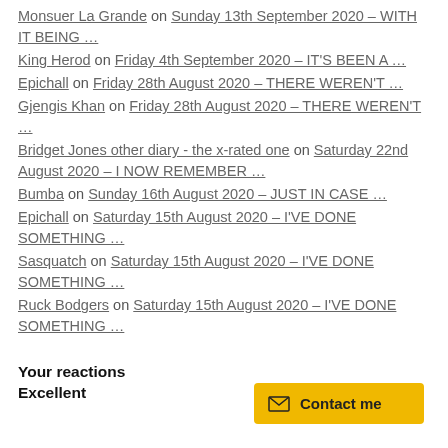Monsuer La Grande on Sunday 13th September 2020 – WITH IT BEING …
King Herod on Friday 4th September 2020 – IT'S BEEN A …
Epichall on Friday 28th August 2020 – THERE WEREN'T …
Gjengis Khan on Friday 28th August 2020 – THERE WEREN'T …
Bridget Jones other diary - the x-rated one on Saturday 22nd August 2020 – I NOW REMEMBER …
Bumba on Sunday 16th August 2020 – JUST IN CASE …
Epichall on Saturday 15th August 2020 – I'VE DONE SOMETHING …
Sasquatch on Saturday 15th August 2020 – I'VE DONE SOMETHING …
Ruck Bodgers on Saturday 15th August 2020 – I'VE DONE SOMETHING …
Your reactions
Excellent